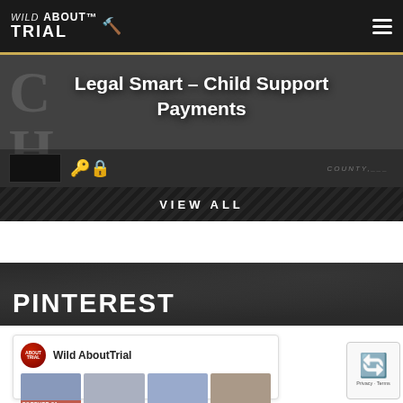Wild About Trial – site navigation header
Legal Smart – Child Support Payments
VIEW ALL
PINTEREST
Wild AboutTrial
[Figure (screenshot): Pinterest grid showing trial-related photo thumbnails under Wild AboutTrial profile]